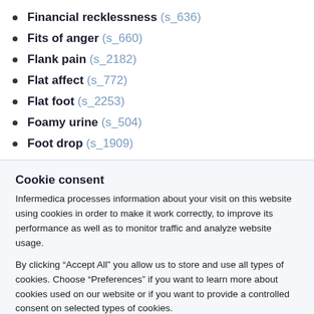Financial recklessness (s_636)
Fits of anger (s_660)
Flank pain (s_2182)
Flat affect (s_772)
Flat foot (s_2253)
Foamy urine (s_504)
Foot drop (s_1909)
Cookie consent
Infermedica processes information about your visit on this website using cookies in order to make it work correctly, to improve its performance as well as to monitor traffic and analyze website usage.
By clicking “Accept All” you allow us to store and use all types of cookies. Choose “Preferences” if you want to learn more about cookies used on our website or if you want to provide a controlled consent on selected types of cookies.